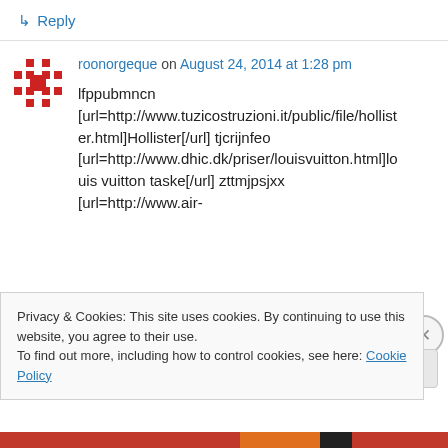↳ Reply
roonorgeque on August 24, 2014 at 1:28 pm
lfppubmncn [url=http://www.tuzicostruzioni.it/public/file/hollister.html]Hollister[/url] tjcrijnfeo [url=http://www.dhic.dk/priser/louisvuitton.html]louis vuitton taske[/url] zttmjpsjxx [url=http://www.air-
Privacy & Cookies: This site uses cookies. By continuing to use this website, you agree to their use.
To find out more, including how to control cookies, see here: Cookie Policy
Close and accept